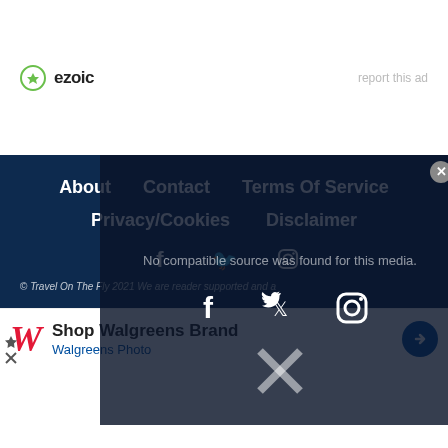[Figure (logo): Ezoic logo with green circle icon and bold text, with 'report this ad' link on right]
About   Contact   Terms Of Service   Privacy/Cookies   Disclaimer
[Figure (screenshot): Overlay panel showing social media icons (Facebook, Twitter/X, Instagram) with 'No compatible source was found for this media.' message and close button]
© Travel On The Fly 2021 We are reader supported and a
[Figure (screenshot): Walgreens advertisement banner: Shop Walgreens Brand / Walgreens Photo with W logo and arrow button]